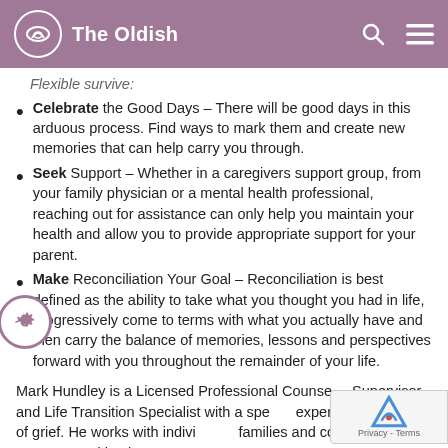The Oldish
Flexible survive:
Celebrate the Good Days – There will be good days in this arduous process. Find ways to mark them and create new memories that can help carry you through.
Seek Support – Whether in a caregivers support group, from your family physician or a mental health professional, reaching out for assistance can only help you maintain your health and allow you to provide appropriate support for your parent.
Make Reconciliation Your Goal – Reconciliation is best defined as the ability to take what you thought you had in life, progressively come to terms with what you actually have and then carry the balance of memories, lessons and perspectives forward with you throughout the remainder of your life.
Mark Hundley is a Licensed Professional Counselor Supervisor and Life Transition Specialist with a special expertise in the field of grief. He works with individuals, families and corporate bodies to create and implement